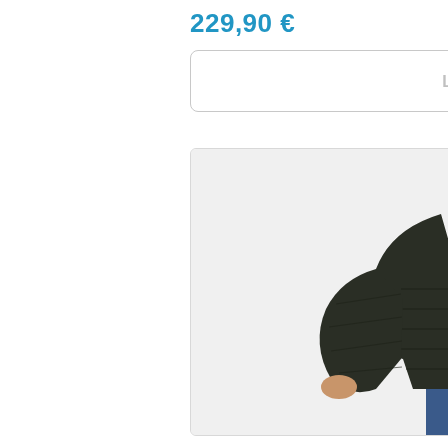229,90 €
LUE LISÄÄ »
[Figure (photo): A man wearing a dark olive/black quilted puffer jacket with a hood, zipped up, paired with blue jeans. The jacket has horizontal quilted panels. The photo shows the person from chest to thigh level against a light background.]